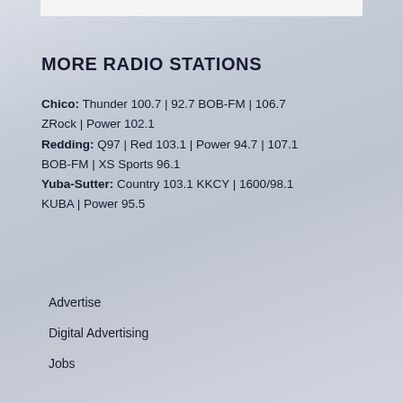MORE RADIO STATIONS
Chico: Thunder 100.7 | 92.7 BOB-FM | 106.7 ZRock | Power 102.1
Redding: Q97 | Red 103.1 | Power 94.7 | 107.1 BOB-FM | XS Sports 96.1
Yuba-Sutter: Country 103.1 KKCY | 1600/98.1 KUBA | Power 95.5
Advertise
Digital Advertising
Jobs